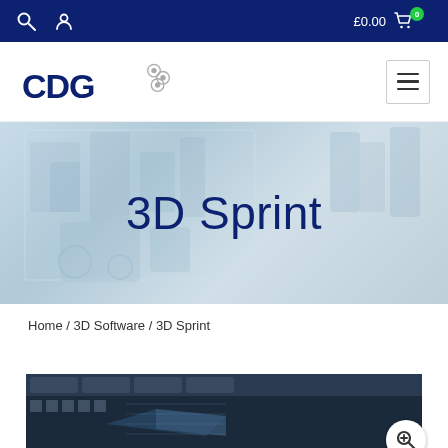£0.00
[Figure (logo): CDG logo with chain link icon]
3D Sprint
Home / 3D Software / 3D Sprint
[Figure (screenshot): 3D Sprint software interface screenshot with toolbar and 3D model view, with magnify button overlay]